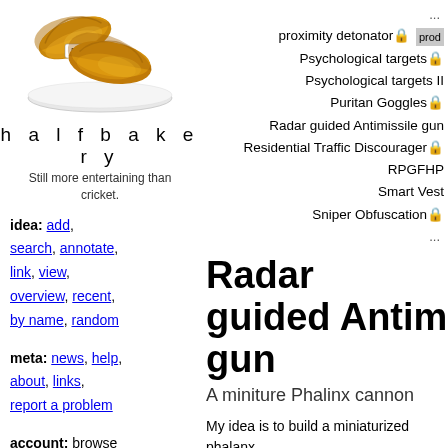[Figure (photo): Photo of two croissants on a white plate with a price tag reading '50¢']
halfbakery
Still more entertaining than cricket.
idea: add, search, annotate, link, view, overview, recent, by name, random
meta: news, help, about, links, report a problem
account: browse anonymously, or get an account and write
...
proximity detonator
Psychological targets
Psychological targets II
Puritan Goggles
Radar guided Antimissile gun
Residential Traffic Discourager
RPGFHP
Smart Vest
Sniper Obfuscation
...
Radar guided Antimissile gun
A miniture Phalinx cannon
My idea is to build a miniaturized phalanx be used against RPGs and other small arm be implemented on helicopters, ground ve carried by infantry and set up in predeterr system could use satellites in space, surve and an onboard high-resolution short-rang